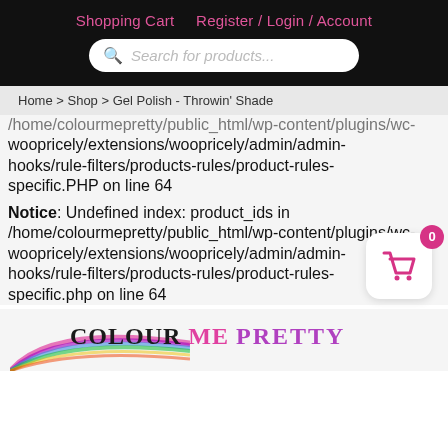Shopping Cart   Register / Login / Account
Search for products...
Home > Shop > Gel Polish - Throwin' Shade
/home/colourmepretty/public_html/wp-content/plugins/wc-woopricely/extensions/woopricely/admin/admin-hooks/rule-filters/products-rules/product-rules-specific.PHP on line 64
Notice: Undefined index: product_ids in /home/colourmepretty/public_html/wp-content/plugins/wc-woopricely/extensions/woopricely/admin/admin-hooks/rule-filters/products-rules/product-rules-specific.php on line 64
[Figure (logo): Colour Me Pretty logo with rainbow swoosh graphic]